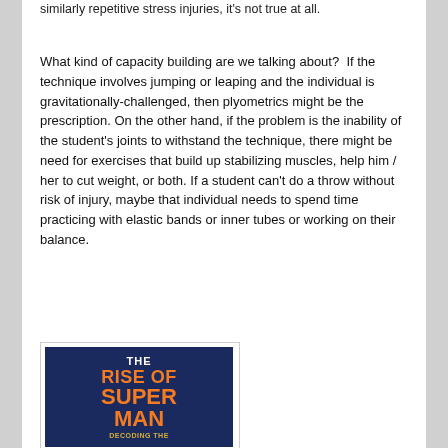similarly repetitive stress injuries, it's not true at all.
What kind of capacity building are we talking about?  If the technique involves jumping or leaping and the individual is gravitationally-challenged, then plyometrics might be the prescription. On the other hand, if the problem is the inability of the student's joints to withstand the technique, there might be need for exercises that build up stabilizing muscles, help him / her to cut weight, or both. If a student can't do a throw without risk of injury, maybe that individual needs to spend time practicing with elastic bands or inner tubes or working on their balance.
[Figure (photo): Book cover of 'The Rise of Superman: Decoding the Science of Ultimate Human Performance' shown on a dark blue background with orange and yellow title text.]